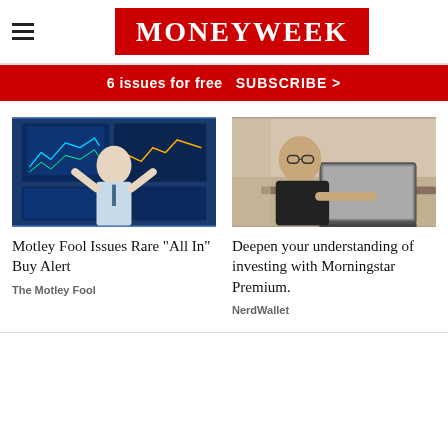MoneyWeek
6 issues for free  SUBSCRIBE >
[Figure (photo): Man in white shirt with hands raised, standing in front of multiple trading screens showing stock market data]
Motley Fool Issues Rare "All In" Buy Alert
The Motley Fool
[Figure (photo): Man with glasses and beard wearing dark shirt, working on a laptop in a bright office environment]
Deepen your understanding of investing with Morningstar Premium.
NerdWallet